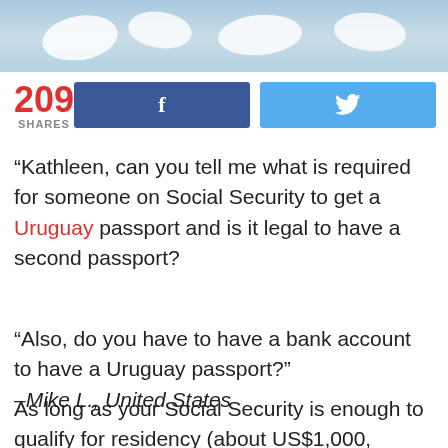[Figure (photo): Partial photo showing white outdoor furniture near a pool, Mediterranean/vacation setting]
209 SHARES
[Figure (infographic): Facebook share button (blue) and Twitter share button (light blue)]
“Kathleen, can you tell me what is required for someone on Social Security to get a Uruguay passport and is it legal to have a second passport?
“Also, do you have to have a bank account to have a Uruguay passport?” –Mike L., United States
As long as your Social Security is enough to qualify for residency (about US$1,000, determined on a case-by-case basis), then that’s all you’ll need. Your Social Security can be combined with other permanent income, if